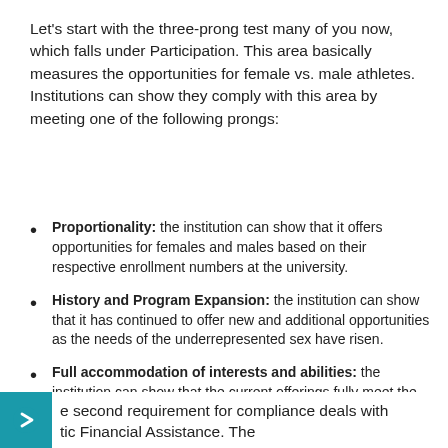Let's start with the three-prong test many of you now, which falls under Participation. This area basically measures the opportunities for female vs. male athletes. Institutions can show they comply with this area by meeting one of the following prongs:
Proportionality: the institution can show that it offers opportunities for females and males based on their respective enrollment numbers at the university.
History and Program Expansion: the institution can show that it has continued to offer new and additional opportunities as the needs of the underrepresented sex have risen.
Full accommodation of interests and abilities: the institution can show that the current offerings fully meet the interest level of the underrepresented sex.
e second requirement for compliance deals with tic Financial Assistance. The